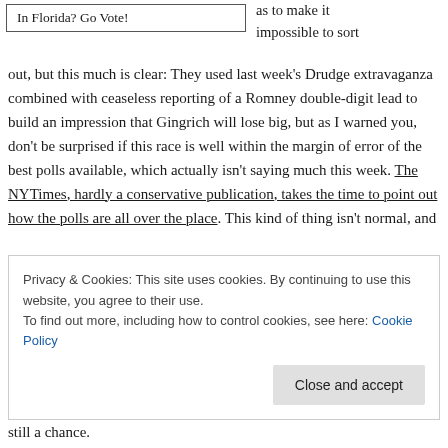In Florida? Go Vote!
as to make it impossible to sort out, but this much is clear: They used last week's Drudge extravaganza combined with ceaseless reporting of a Romney double-digit lead to build an impression that Gingrich will lose big, but as I warned you, don't be surprised if this race is well within the margin of error of the best polls available, which actually isn't saying much this week. The NYTimes, hardly a conservative publication, takes the time to point out how the polls are all over the place. This kind of thing isn't normal, and
Privacy & Cookies: This site uses cookies. By continuing to use this website, you agree to their use.
To find out more, including how to control cookies, see here: Cookie Policy
Close and accept
still a chance.